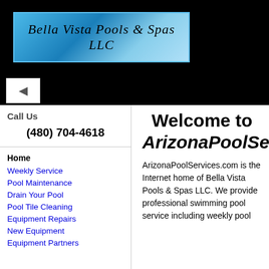[Figure (logo): Bella Vista Pools & Spas LLC logo with blue water/wave background and script text]
[Figure (other): Black header banner area with collapse/toggle button]
Call Us
(480) 704-4618
Home
Weekly Service
Pool Maintenance
Drain Your Pool
Pool Tile Cleaning
Equipment Repairs
New Equipment
Equipment Partners
Welcome to ArizonaPoolServ
ArizonaPoolServices.com is the Internet home of Bella Vista Pools & Spas LLC. We provide professional swimming pool service including weekly pool cleaning, equipment repairs, and more.